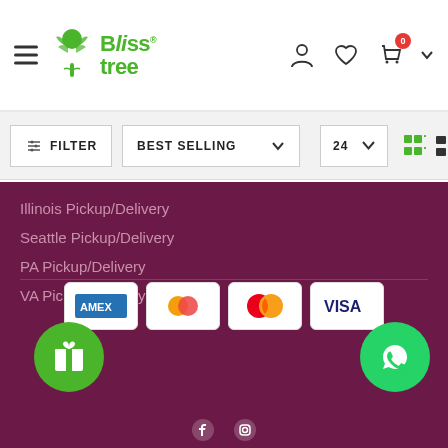[Figure (logo): Bliss Tree logo - green tree icon with 'Bliss tree' text in green]
[Figure (infographic): Header navigation icons: user profile, heart/wishlist, shopping cart with 0 badge, and dropdown chevron]
[Figure (screenshot): Filter bar with FILTER button, BEST SELLING dropdown, 24 count selector, grid and list view icons]
Illinois Pickup/Delivery
Seattle Pickup/Delivery
PA Pickup/Delivery
VA Pickup/Delivery
[Figure (infographic): Payment method icons: American Express (AMEX), generic card, Mastercard, Visa]
[Figure (infographic): Green gift/rewards button circle on left, green WhatsApp button circle on right]
[Figure (infographic): Social media icons row at bottom (Facebook, etc.)]